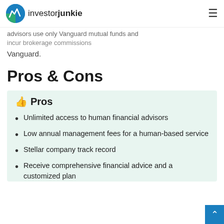investorjunkie
advisors use only Vanguard mutual funds and incur brokerage commissions Vanguard.
Pros & Cons
Unlimited access to human financial advisors
Low annual management fees for a human-based service
Stellar company track record
Receive comprehensive financial advice and a customized plan